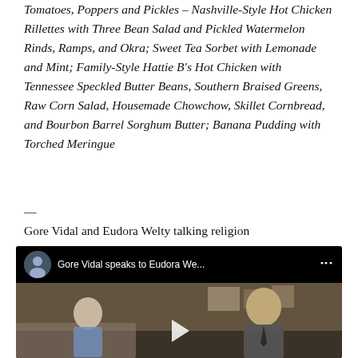Tomatoes, Poppers and Pickles – Nashville-Style Hot Chicken Rillettes with Three Bean Salad and Pickled Watermelon Rinds, Ramps, and Okra; Sweet Tea Sorbet with Lemonade and Mint; Family-Style Hattie B's Hot Chicken with Tennessee Speckled Butter Beans, Southern Braised Greens, Raw Corn Salad, Housemade Chowchow, Skillet Cornbread, and Bourbon Barrel Sorghum Butter; Banana Pudding with Torched Meringue
—
Gore Vidal and Eudora Welty talking religion
[Figure (screenshot): Embedded YouTube video thumbnail showing Gore Vidal speaks to Eudora We... with two people talking in an interior setting. A circular avatar icon and video title appear in the top bar, with a play button at the bottom center.]